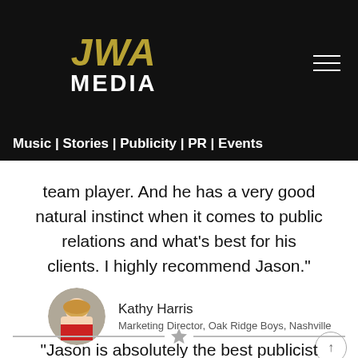[Figure (logo): JWA Media logo with gold italic JWA text and white MEDIA text on black background, with hamburger menu lines on right]
Music | Stories | Publicity | PR | Events
team player. And he has a very good natural instinct when it comes to public relations and what's best for his clients. I highly recommend Jason."
[Figure (photo): Circular cropped portrait photo of Kathy Harris, a woman with blonde hair wearing a red top]
Kathy Harris
Marketing Director, Oak Ridge Boys, Nashville
[Figure (infographic): Horizontal divider line with a gray star icon in the center]
"Jason is absolutely the best publicist